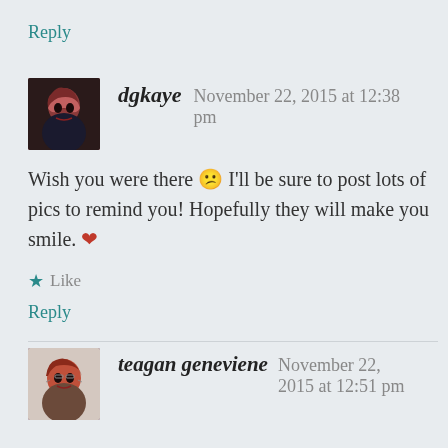Reply
[Figure (photo): Avatar photo of dgkaye, a woman with red/brown hair]
dgkaye   November 22, 2015 at 12:38 pm
Wish you were there 😕 I'll be sure to post lots of pics to remind you! Hopefully they will make you smile. ❤
★ Like
Reply
[Figure (photo): Avatar photo of teagan geneviene, a woman with red hair and glasses]
teagan geneviene   November 22, 2015 at 12:51 pm